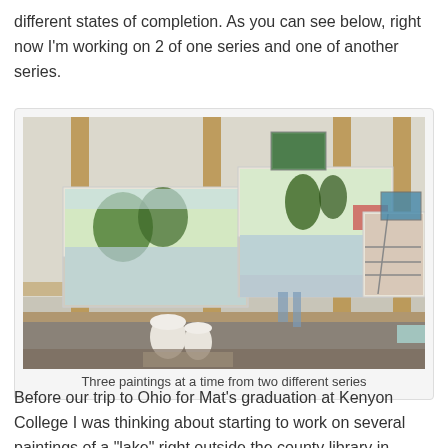different states of completion. As you can see below, right now I'm working on 2 of one series and one of another series.
[Figure (photo): Three paintings on easels in an art studio, shown in different states of completion.]
Three paintings at a time from two different series
Before our trip to Ohio for Mat's graduation at Kenyon College I was thinking about starting to work on several paintings of a "lake" right outside the county library in